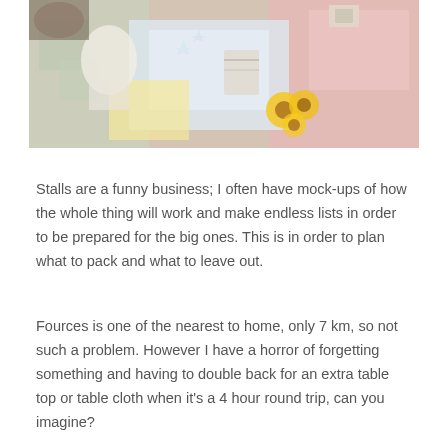[Figure (photo): A colorful overhead photo of craft stall items including fabric quilts, small garment pieces with tags, sunflowers, and various handmade goods spread out on a table.]
Stalls are a funny business; I often have mock-ups of how the whole thing will work and make endless lists in order to be prepared for the big ones. This is in order to plan what to pack and what to leave out.
Fources is one of the nearest to home, only 7 km, so not such a problem. However I have a horror of forgetting something and having to double back for an extra table top or table cloth when it's a 4 hour round trip, can you imagine?